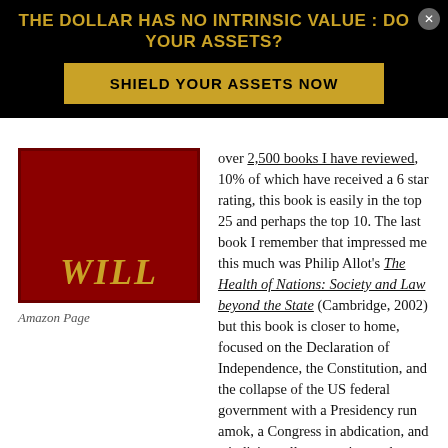THE DOLLAR HAS NO INTRINSIC VALUE : DO YOUR ASSETS?
SHIELD YOUR ASSETS NOW
[Figure (illustration): Red book cover with gold italic text 'WILL']
Amazon Page
over 2,500 books I have reviewed, 10% of which have received a 6 star rating, this book is easily in the top 25 and perhaps the top 10. The last book I remember that impressed me this much was Philip Allot's The Health of Nations: Society and Law beyond the State (Cambridge, 2002) but this book is closer to home, focused on the Declaration of Independence, the Constitution, and the collapse of the US federal government with a Presidency run amok, a Congress in abdication, and a judiciary all too passive as the Constitution is shredded.